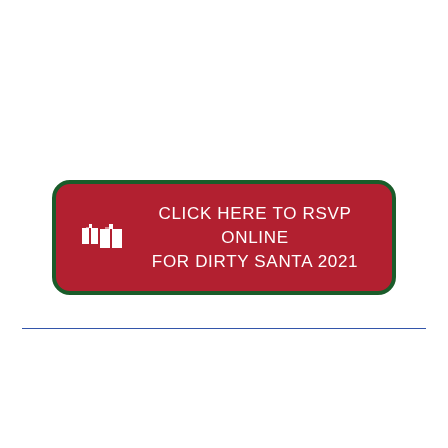[Figure (other): Red rounded rectangle button with dark green border, containing a white pixel-art gift icon on the left and white uppercase text 'CLICK HERE TO RSVP ONLINE FOR DIRTY SANTA 2021' centered on the right]